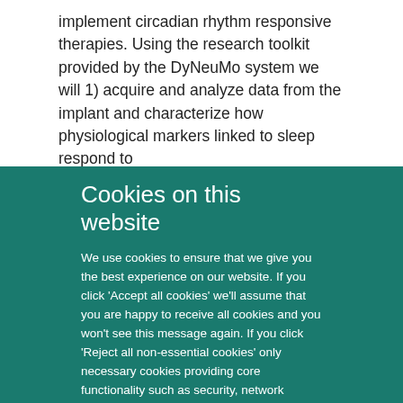implement circadian rhythm responsive therapies. Using the research toolkit provided by the DyNeuMo system we will 1) acquire and analyze data from the implant and characterize how physiological markers linked to sleep respond to
Cookies on this website
We use cookies to ensure that we give you the best experience on our website. If you click 'Accept all cookies' we'll assume that you are happy to receive all cookies and you won't see this message again. If you click 'Reject all non-essential cookies' only necessary cookies providing core functionality such as security, network management, and accessibility will be enabled. Click 'Find out more' for information on how to change your cookie settings.